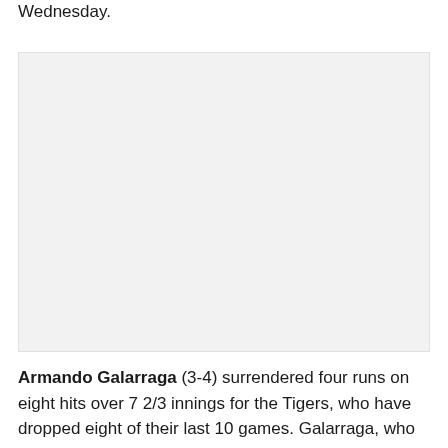Wednesday.
[Figure (photo): A light gray rectangular image placeholder area.]
Armando Galarraga (3-4) surrendered four runs on eight hits over 7 2/3 innings for the Tigers, who have dropped eight of their last 10 games. Galarraga, who